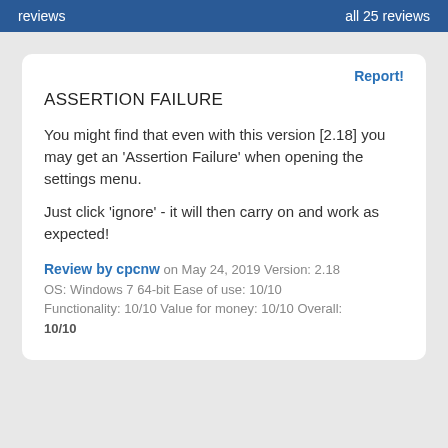reviews   all 25 reviews
Report!
ASSERTION FAILURE
You might find that even with this version [2.18] you may get an 'Assertion Failure' when opening the settings menu.
Just click 'ignore' - it will then carry on and work as expected!
Review by cpcnw on May 24, 2019 Version: 2.18 OS: Windows 7 64-bit Ease of use: 10/10 Functionality: 10/10 Value for money: 10/10 Overall: 10/10